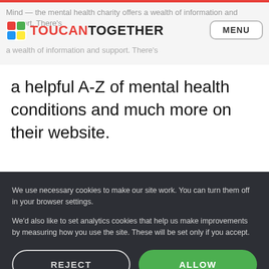Mind — the mental health charity offers a wealth of information and support. There's
[Figure (logo): Toucan Together logo with colorful square icon and text 'TOUCAN TOGETHER' in red and black]
a helpful A-Z of mental health conditions and much more on their website.
We use necessary cookies to make our site work. You can turn them off in your browser settings.
We'd also like to set analytics cookies that help us make improvements by measuring how you use the site. These will be set only if you accept.
REJECT  ALLOW